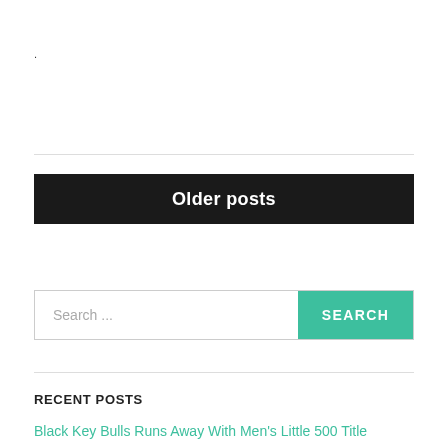.
Older posts
Search ...
RECENT POSTS
Black Key Bulls Runs Away With Men's Little 500 Title